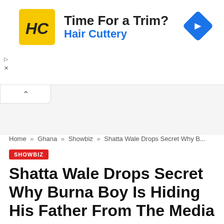[Figure (other): Hair Cuttery advertisement banner with yellow logo, 'Time For a Trim?' headline, 'Hair Cuttery' subline in blue, and a blue diamond-shaped arrow icon on the right.]
Home » Ghana » Showbiz » Shatta Wale Drops Secret Why B...
SHOWBIZ
Shatta Wale Drops Secret Why Burna Boy Is Hiding His Father From The Media
BY ELIZABETH DANSO – JANUARY 2, 2022 – UPDATED: JANUARY 2,